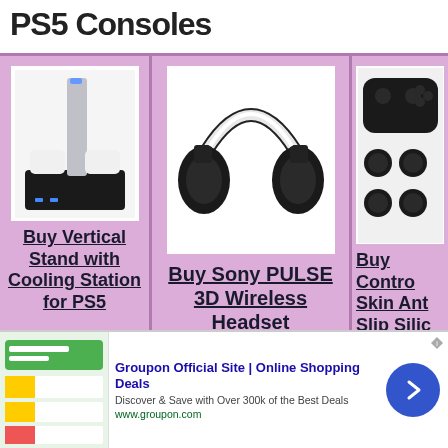PS5 Consoles
[Figure (illustration): Product grid showing three PS5 accessories on pink/purple background: Vertical Stand with Cooling Station, Sony PULSE 3D Wireless Headset, and Controller Skin Anti-Slip Silicone Grip Covers]
Buy Vertical Stand with Cooling Station for PS5
Buy Sony PULSE 3D Wireless Headset
Buy Controller Skin Anti-Slip Silicone Grip Covers
[Figure (screenshot): Groupon advertisement banner: Groupon Official Site | Online Shopping Deals. Discover & Save with Over 300k of the Best Deals. www.groupon.com. Blue arrow navigation button on right.]